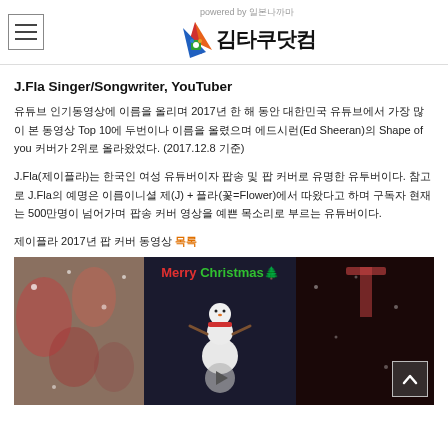김타쿠닷컴 (powered by 일본나까마)
J.Fla Singer/Songwriter, YouTuber
유튜브 인기동영상에 이름을 올리며 2017년 한 해 동안 대한민국 유튜브에서 가장 많이 본 동영상 Top 10에 두번이나 이름을 올렸으며 에드시런(Ed Sheeran)의 Shape of you 커버가 2위로 올라왔었다. (2017.12.8 기준)
J.Fla(제이플라)는 한국인 여성 유튜버이자 팝송 및 팝 커버로 유명한 유투버이다. 참고로 J.Fla의 예명은 이름이니셜 제(J) + 플라(꽃=Flower)에서 따왔다고 하며 구독자 현재는 500만명이 넘어가며 팝송 커버 영상을 예쁜 목소리로 부르는 유튜버이다.
제이플라 2017년 팝 커버 동영상 목록
[Figure (screenshot): Video thumbnail showing Merry Christmas text in red and green, a snowman figure in the center panel, decorations on the left, and a dark right panel with a play button]